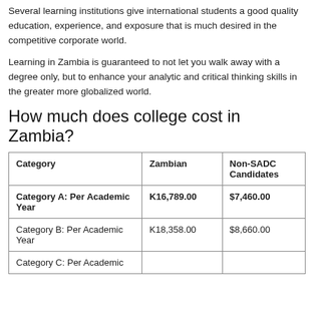Several learning institutions give international students a good quality education, experience, and exposure that is much desired in the competitive corporate world.
Learning in Zambia is guaranteed to not let you walk away with a degree only, but to enhance your analytic and critical thinking skills in the greater more globalized world.
How much does college cost in Zambia?
| Category | Zambian | Non-SADC Candidates |
| --- | --- | --- |
| Category A: Per Academic Year | K16,789.00 | $7,460.00 |
| Category B: Per Academic Year | K18,358.00 | $8,660.00 |
| Category C: Per Academic Year |  |  |